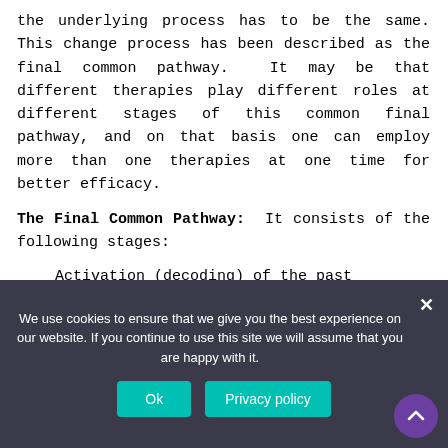the underlying process has to be the same. This change process has been described as the final common pathway.  It may be that different therapies play different roles at different stages of this common final pathway, and on that basis one can employ more than one therapies at one time for better efficacy.
The Final Common Pathway:  It consists of the following stages:
Activation (decoding) of the past experiences.
We use cookies to ensure that we give you the best experience on our website. If you continue to use this site we will assume that you are happy with it.